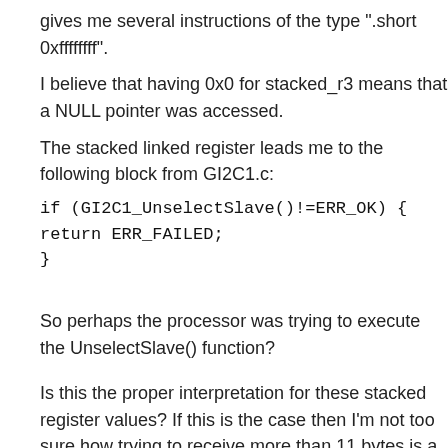gives me several instructions of the type ".short 0xffffffff".
I believe that having 0x0 for stacked_r3 means that a NULL pointer was accessed.
The stacked linked register leads me to the following block from GI2C1.c:
if (GI2C1_UnselectSlave()!=ERR_OK) {
return ERR_FAILED;
}
So perhaps the processor was trying to execute the UnselectSlave() function?
Is this the proper interpretation for these stacked register values? If this is the case then I'm not too sure how trying to receive more than 11 bytes is a problem. Except maybe if my I2C